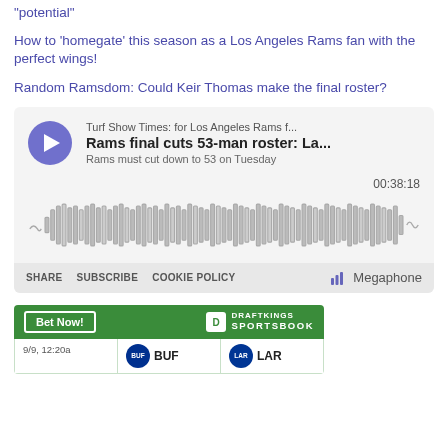“potential”
How to ‘homegate’ this season as a Los Angeles Rams fan with the perfect wings!
Random Ramsdom: Could Keir Thomas make the final roster?
[Figure (other): Podcast player widget for 'Turf Show Times: for Los Angeles Rams f...' showing episode 'Rams final cuts 53-man roster: La...' with subtitle 'Rams must cut down to 53 on Tuesday', duration 00:38:18, with waveform visualization. Footer has SHARE, SUBSCRIBE, COOKIE POLICY links and Megaphone logo.]
[Figure (other): DraftKings Sportsbook betting widget showing 'Bet Now!' button and a matchup with BUF vs LAR on 9/9 12:20a.]